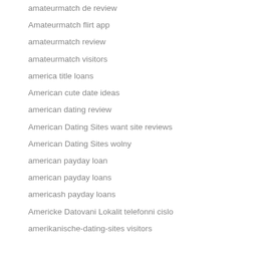amateurmatch de review
Amateurmatch flirt app
amateurmatch review
amateurmatch visitors
america title loans
American cute date ideas
american dating review
American Dating Sites want site reviews
American Dating Sites wolny
american payday loan
american payday loans
americash payday loans
Americke Datovani Lokalit telefonni cislo
amerikanische-dating-sites visitors